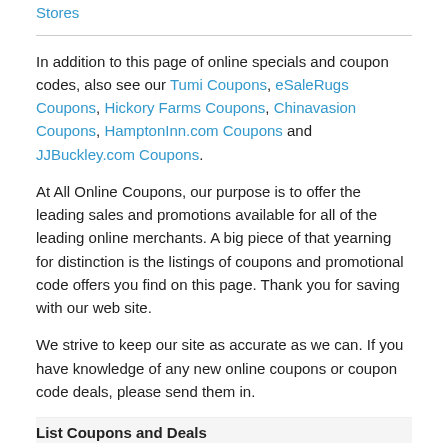Stores
In addition to this page of online specials and coupon codes, also see our Tumi Coupons, eSaleRugs Coupons, Hickory Farms Coupons, Chinavasion Coupons, HamptonInn.com Coupons and JJBuckley.com Coupons.
At All Online Coupons, our purpose is to offer the leading sales and promotions available for all of the leading online merchants. A big piece of that yearning for distinction is the listings of coupons and promotional code offers you find on this page. Thank you for saving with our web site.
We strive to keep our site as accurate as we can. If you have knowledge of any new online coupons or coupon code deals, please send them in.
List Coupons and Deals